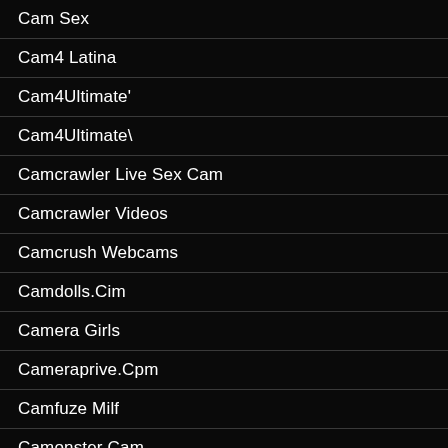Cam Sex
Cam4 Latina
Cam4Ultimate'
Cam4Ultimate\
Camcrawler Live Sex Cam
Camcrawler Videos
Camcrush Webcams
Camdolls.Cim
Camera Girls
Cameraprive.Cpm
Camfuze Milf
Camonster Cam
Camonster Latina